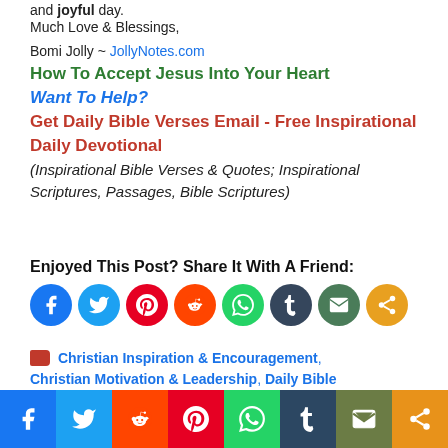and joyful day.
Much Love & Blessings,
Bomi Jolly ~ JollyNotes.com
How To Accept Jesus Into Your Heart
Want To Help?
Get Daily Bible Verses Email - Free Inspirational Daily Devotional
(Inspirational Bible Verses & Quotes; Inspirational Scriptures, Passages, Bible Scriptures)
Enjoyed This Post? Share It With A Friend:
[Figure (infographic): Row of 8 social share icon circles: Facebook (blue), Twitter (light blue), Pinterest (red), Reddit (orange-red), WhatsApp (green), Tumblr (dark blue), Email (dark green), More/Share (orange)]
Christian Inspiration & Encouragement, Christian Motivation & Leadership, Daily Bible
[Figure (infographic): Bottom share bar with 8 colored sections: Facebook (dark blue), Twitter (light blue), Reddit (red-orange), Pinterest (red), WhatsApp (green), Tumblr (dark blue-green), Email (olive/dark), More (orange)]